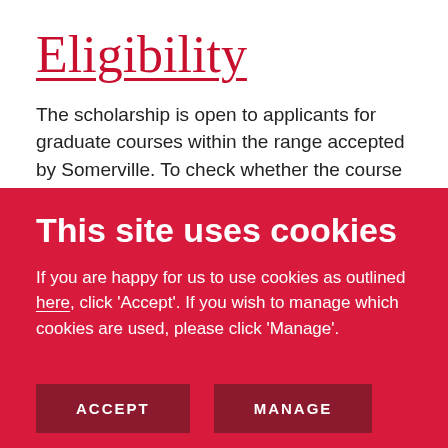Eligibility
The scholarship is open to applicants for graduate courses within the range accepted by Somerville. To check whether the course you are planning to
This site uses cookies
If you are happy for us to use cookies as outlined here, click ‘Accept’. If you wish to manage which cookies are used, please click ‘Manage’.
ACCEPT
MANAGE